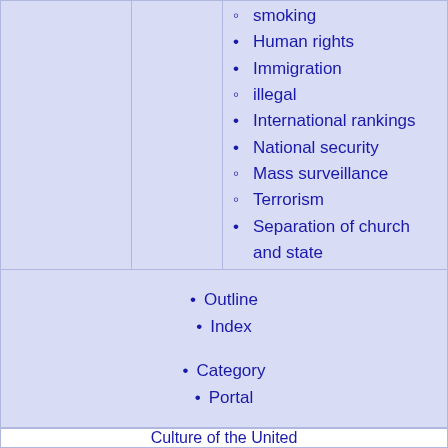smoking
Human rights
Immigration
illegal
International rankings
National security
Mass surveillance
Terrorism
Separation of church and state
Outline
Index
Category
Portal
Culture of the United